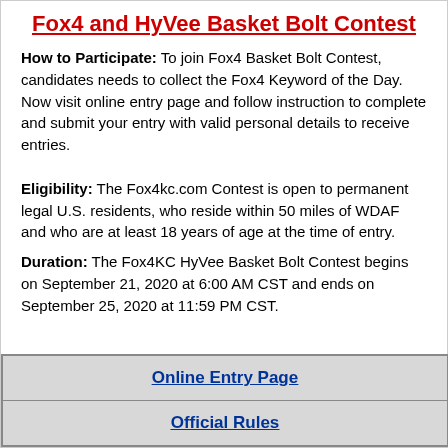Fox4 and HyVee Basket Bolt Contest
How to Participate: To join Fox4 Basket Bolt Contest, candidates needs to collect the Fox4 Keyword of the Day. Now visit online entry page and follow instruction to complete and submit your entry with valid personal details to receive entries.
Eligibility: The Fox4kc.com Contest is open to permanent legal U.S. residents, who reside within 50 miles of WDAF and who are at least 18 years of age at the time of entry.
Duration: The Fox4KC HyVee Basket Bolt Contest begins on September 21, 2020 at 6:00 AM CST and ends on September 25, 2020 at 11:59 PM CST.
| Online Entry Page |
| Official Rules |